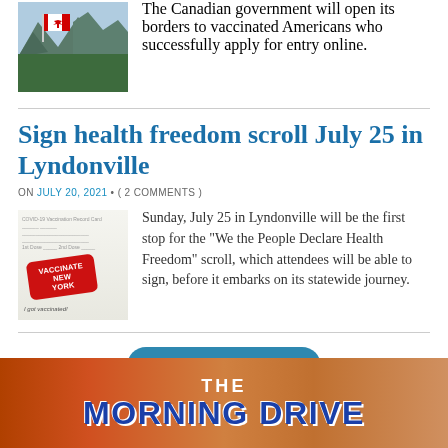The Canadian government will open its borders to vaccinated Americans who successfully apply for entry online.
Sign health freedom scroll July 25 in Lyndonville
ON JULY 20, 2021 • ( 2 COMMENTS )
Sunday, July 25 in Lyndonville will be the first stop for the “We the People Declare Health Freedom” scroll, which attendees will be able to sign, before it embarks on its statewide journey.
[Figure (other): Button labeled MORE POSTS with refresh icon]
[Figure (other): Banner image for The Morning Drive]